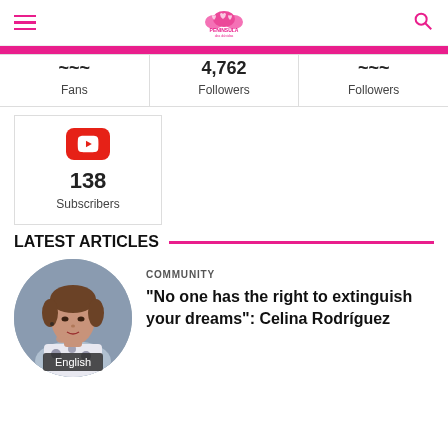Peninsula das Dúvidas
| Fans | Followers | Followers |
| --- | --- | --- |
| 138 | Subscribers |  |
LATEST ARTICLES
[Figure (photo): Circular portrait photo of Celina Rodríguez with English language badge overlay]
COMMUNITY
"No one has the right to extinguish your dreams": Celina Rodríguez